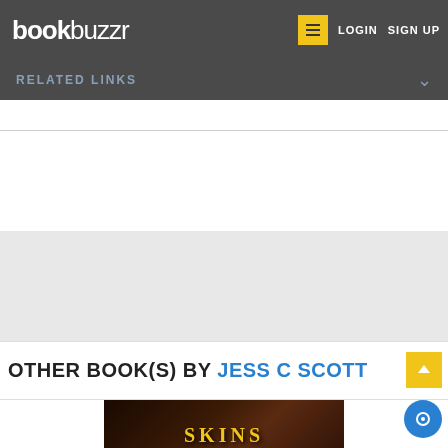bookbuzzr | LOGIN | SIGN UP
RELATED LINKS
OTHER BOOK(S) BY JESS C SCOTT
[Figure (photo): Book cover image showing the word SKINS in yellow text on a dark background]